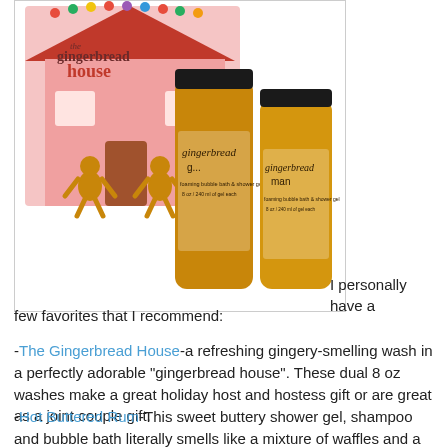[Figure (photo): Product photo of Philosophy Gingerbread House set — two amber-colored bottles labeled 'gingerbread' against a pink illustrated gingerbread house gift box backdrop]
I personally have a few favorites that I recommend:
-The Gingerbread House-a refreshing gingery-smelling wash in a perfectly adorable "gingerbread house". These dual 8 oz washes make a great holiday host and hostess gift or are great as a joint couple gift.
-Hot Buttered Rum-This sweet buttery shower gel, shampoo and bubble bath literally smells like a mixture of waffles and a sugary rum dessert drink. It also feels creamy and smooth on the skin and makes a great refreshing body cleanser.